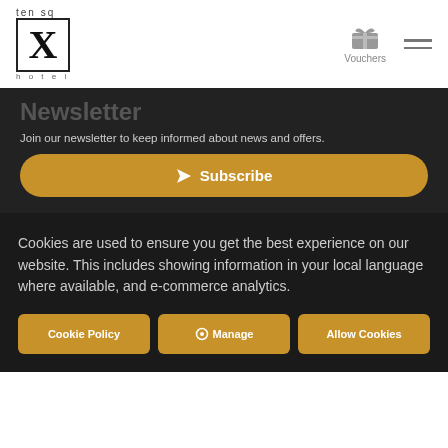[Figure (logo): Ten Square Hotel logo with X in a box, 'ten sq' above and 'hotel' below]
[Figure (infographic): Gift/voucher icon with 'Vouchers' label and hamburger menu icon]
Newsletter
Join our newsletter to keep informed about news and offers.
Subscribe (button)
Cookies are used to ensure you get the best experience on our website. This includes showing information in your local language where available, and e-commerce analytics.
Cookie Policy | Manage | Allow Cookies